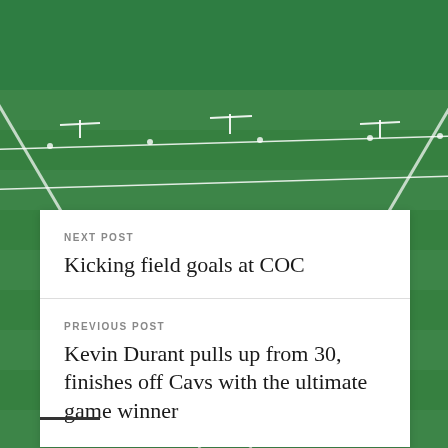[Figure (photo): Football field with green turf and white yard lines/markers, with a solid dark green header bar at the top]
NEXT POST
Kicking field goals at COC
PREVIOUS POST
Kevin Durant pulls up from 30, finishes off Cavs with the ultimate game winner